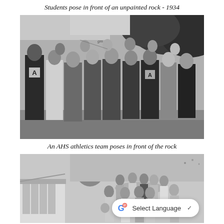Students pose in front of an unpainted rock - 1934
[Figure (photo): Black and white photograph of a group of male students posing outdoors in front of an unpainted rock in 1934. Several students wear letterman jackets with the letter 'A'.]
An AHS athletics team poses in front of the rock
[Figure (photo): Black and white photograph of an AHS athletics team, including female students, posing in front of the rock with a school building visible in the background.]